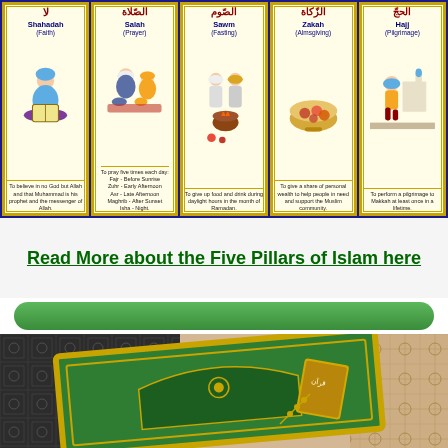[Figure (infographic): Five Pillars of Islam infographic with five vertical cards: Shahadah (Faith), Salah (Prayer), Sawm (Fasting), Zakah (Almsgiving), Hajj (Pilgrimage). Each card has Arabic calligraphy, English name, an illustration, and a short description.]
Read More about the Five Pillars of Islam here
[Figure (photo): Decorative green Islamic prayer rug with golden borders placed on a patterned tile surface.]